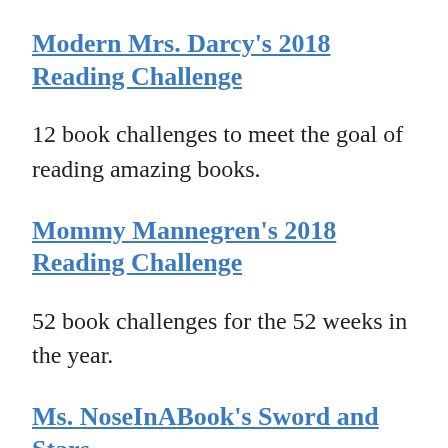Modern Mrs. Darcy's 2018 Reading Challenge
12 book challenges to meet the goal of reading amazing books.
Mommy Mannegren's 2018 Reading Challenge
52 book challenges for the 52 weeks in the year.
Ms. NoseInABook's Sword and Stars